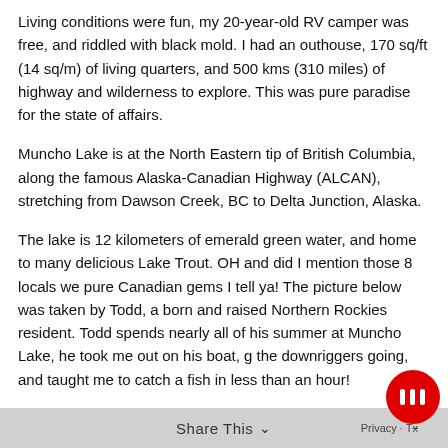Living conditions were fun, my 20-year-old RV camper was free, and riddled with black mold. I had an outhouse, 170 sq/ft (14 sq/m) of living quarters, and 500 kms (310 miles) of highway and wilderness to explore. This was pure paradise for the state of affairs.
Muncho Lake is at the North Eastern tip of British Columbia, along the famous Alaska-Canadian Highway (ALCAN), stretching from Dawson Creek, BC to Delta Junction, Alaska.
The lake is 12 kilometers of emerald green water, and home to many delicious Lake Trout. OH and did I mention those 8 locals we pure Canadian gems I tell ya! The picture below was taken by Todd, a born and raised Northern Rockies resident. Todd spends nearly all of his summer at Muncho Lake, he took me out on his boat, g the downriggers going, and taught me to catch a fish in less than an hour!
Share This ∨